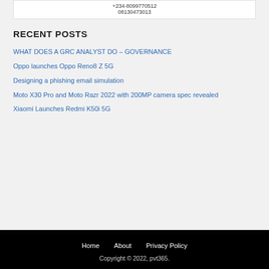[Figure (other): Contact phone numbers displayed: +234-8099770512 and 08130473013]
RECENT POSTS
WHAT DOES A GRC ANALYST DO – GOVERNANCE
Oppo launches Oppo Reno8 Z 5G
Designing a phishing email simulation
Moto X30 Pro and Moto Razr 2022 with 200MP camera spec revealed
Xiaomi Launches Redmi K50i 5G
Home   About   Privacy Policy
Copyright © 2022, pvt365.